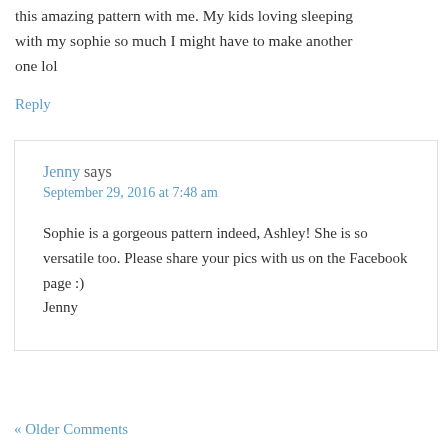this amazing pattern with me. My kids loving sleeping with my sophie so much I might have to make another one lol
Reply
Jenny says
September 29, 2016 at 7:48 am
Sophie is a gorgeous pattern indeed, Ashley! She is so versatile too. Please share your pics with us on the Facebook page :)
Jenny
« Older Comments